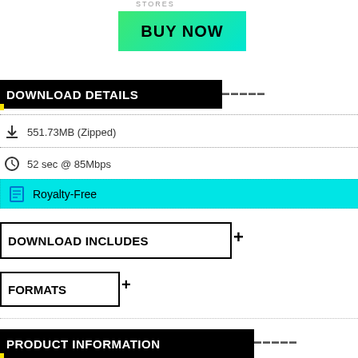STORES
[Figure (other): Green to cyan gradient button labeled BUY NOW]
DOWNLOAD DETAILS
551.73MB (Zipped)
52 sec @ 85Mbps
Royalty-Free
DOWNLOAD INCLUDES
FORMATS
PRODUCT INFORMATION